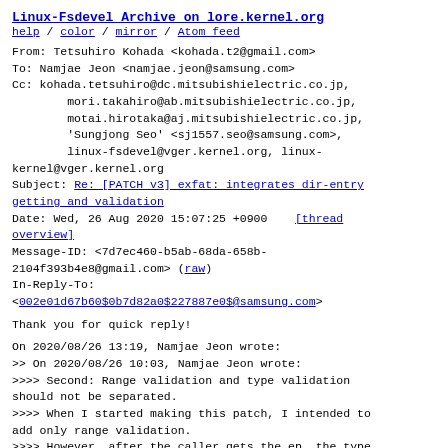Linux-Fsdevel Archive on lore.kernel.org
help / color / mirror / Atom feed
From: Tetsuhiro Kohada <kohada.t2@gmail.com>
To: Namjae Jeon <namjae.jeon@samsung.com>
Cc: kohada.tetsuhiro@dc.mitsubishielectric.co.jp,
        mori.takahiro@ab.mitsubishielectric.co.jp,
        motai.hirotaka@aj.mitsubishielectric.co.jp,
        'Sungjong Seo' <sj1557.seo@samsung.com>,
        linux-fsdevel@vger.kernel.org, linux-kernel@vger.kernel.org
Subject: Re: [PATCH v3] exfat: integrates dir-entry getting and validation
Date: Wed, 26 Aug 2020 15:07:25 +0900   [thread overview]
Message-ID: <7d7ec460-b5ab-68da-658b-2104f393b4e8@gmail.com> (raw)
In-Reply-To:
<002e01d67b60$0b7d82a0$227887e0$@samsung.com>
Thank you for quick reply!
On 2020/08/26 13:19, Namjae Jeon wrote:
>> On 2020/08/26 10:03, Namjae Jeon wrote:
>>>> Second: Range validation and type validation should not be separated.
>>>> When I started making this patch, I intended to add only range validation.
>>>> However, after the caller gets the ep, the type validation follows.